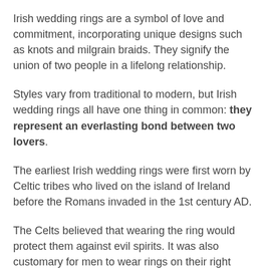Irish wedding rings are a symbol of love and commitment, incorporating unique designs such as knots and milgrain braids. They signify the union of two people in a lifelong relationship.
Styles vary from traditional to modern, but Irish wedding rings all have one thing in common: they represent an everlasting bond between two lovers.
The earliest Irish wedding rings were first worn by Celtic tribes who lived on the island of Ireland before the Romans invaded in the 1st century AD.
The Celts believed that wearing the ring would protect them against evil spirits. It was also customary for men to wear rings on their right hand while women wore theirs on their left.
Celtic Wedding Rings are now commonly used around the world, with many couples choosing to get married in Ireland or England because of its rich